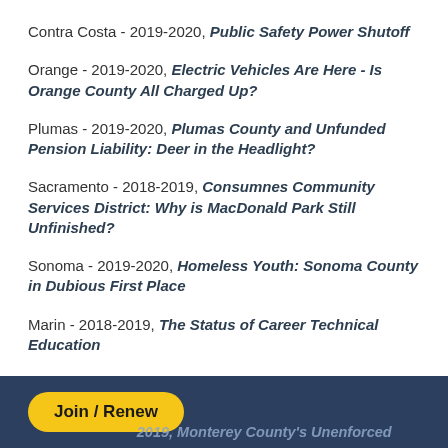Contra Costa - 2019-2020, Public Safety Power Shutoff
Orange - 2019-2020, Electric Vehicles Are Here - Is Orange County All Charged Up?
Plumas - 2019-2020, Plumas County and Unfunded Pension Liability: Deer in the Headlight?
Sacramento - 2018-2019, Consumnes Community Services District: Why is MacDonald Park Still Unfinished?
Sonoma - 2019-2020, Homeless Youth: Sonoma County in Dubious First Place
Marin - 2018-2019, The Status of Career Technical Education
Join / Renew
2019, Monterey County's Unenforced